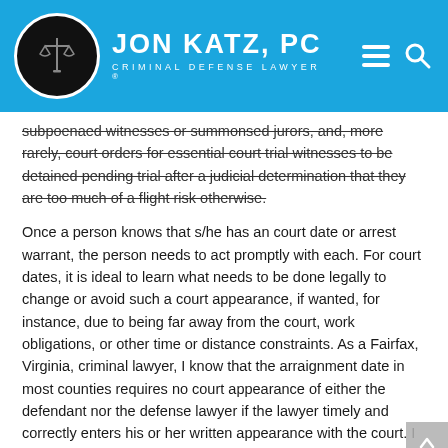Jon Katz, PC — Criminal Defense Lawyer
subpoenaed witnesses or summonsed jurors, and, more rarely, court orders for essential court trial witnesses to be detained pending trial after a judicial determination that they are too much of a flight risk otherwise.
Once a person knows that s/he has an court date or arrest warrant, the person needs to act promptly with each. For court dates, it is ideal to learn what needs to be done legally to change or avoid such a court appearance, if wanted, for instance, due to being far away from the court, work obligations, or other time or distance constraints. As a Fairfax, Virginia, criminal lawyer, I know that the arraignment date in most counties requires no court appearance of either the defendant nor the defense lawyer if the lawyer timely and correctly enters his or her written appearance with the court. I know that, on the other hand, that initial appearances for criminal cases in federal court usually are mandatory for the defendant.